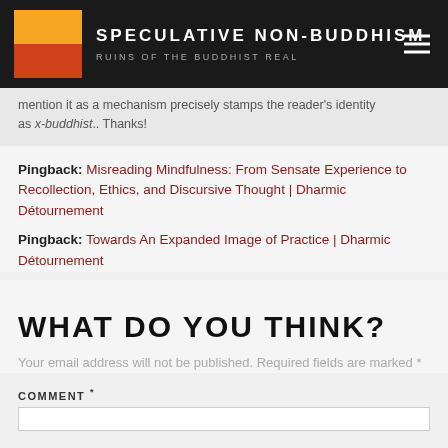SPECULATIVE NON-BUDDHISM RUINS OF THE BUDDHIST REAL
mention it as a mechanism precisely stamps the reader's identity as x-buddhist.. Thanks!
Pingback: Misreading Mindfulness: From Sensate Experience to Recollection, Ethics, and Discursive Thought | Dharmic Détournement
Pingback: Towards An Expanded Image of Practice | Dharmic Détournement
WHAT DO YOU THINK?
Your email address will not be published. Required fields are marked *
COMMENT *